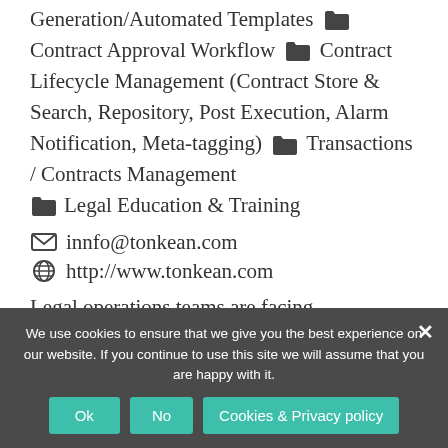Generation/Automated Templates 📁 Contract Approval Workflow 📁 Contract Lifecycle Management (Contract Store & Search, Repository, Post Execution, Alarm Notification, Meta-tagging) 📁 Transactions / Contracts Management 📁 Legal Education & Training
✉ innfo@tonkean.com 🌐 http://www.tonkean.com
Legal operations teams are facing unprecedented pressure to manage risk in a fast-paced, ever-cha...
We use cookies to ensure that we give you the best experience on our website. If you continue to use this site we will assume that you are happy with it.
Ok No Cookies & Privacy policy